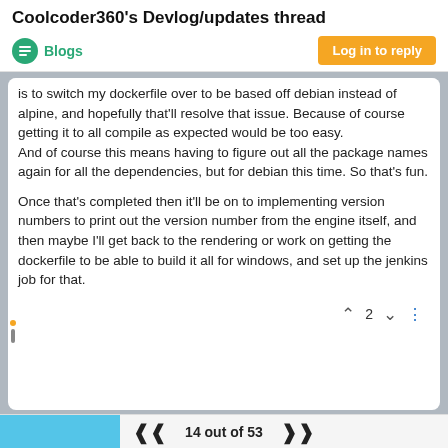Coolcoder360's Devlog/updates thread
Blogs
Log in to reply
is to switch my dockerfile over to be based off debian instead of alpine, and hopefully that'll resolve that issue. Because of course getting it to all compile as expected would be too easy.
And of course this means having to figure out all the package names again for all the dependencies, but for debian this time. So that's fun.
Once that's completed then it'll be on to implementing version numbers to print out the version number from the engine itself, and then maybe I'll get back to the rendering or work on getting the dockerfile to be able to build it all for windows, and set up the jenkins job for that.
2
14 out of 53